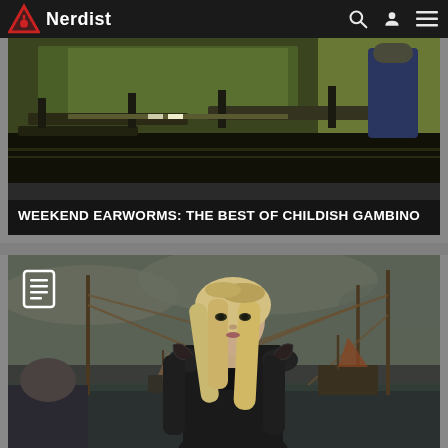Nerdist
[Figure (photo): Classroom scene with school desks and chairs, dark and moody lighting, yellow/green tones]
WEEKEND EARWORMS: THE BEST OF CHILDISH GAMBINO
[Figure (photo): Woman with long blonde braided hair in dark costume standing on a ship deck, Game of Thrones style scene with ships in background]